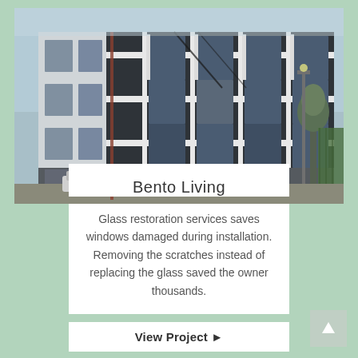[Figure (photo): Exterior photo of a modern multi-story apartment building with dark window frames and white panels, taken from street level. The building has multiple floors with large square windows arranged in a grid pattern.]
Bento Living
Glass restoration services saves windows damaged during installation. Removing the scratches instead of replacing the glass saved the owner thousands.
View Project ▶